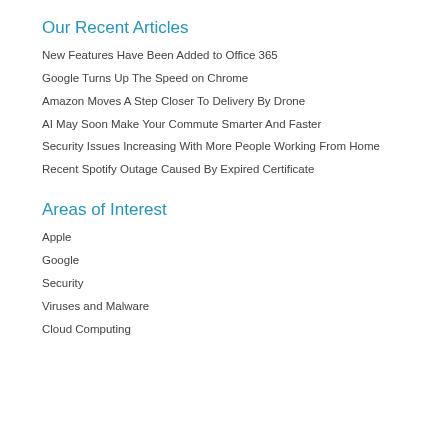Our Recent Articles
New Features Have Been Added to Office 365
Google Turns Up The Speed on Chrome
Amazon Moves A Step Closer To Delivery By Drone
AI May Soon Make Your Commute Smarter And Faster
Security Issues Increasing With More People Working From Home
Recent Spotify Outage Caused By Expired Certificate
Areas of Interest
Apple
Google
Security
Viruses and Malware
Cloud Computing